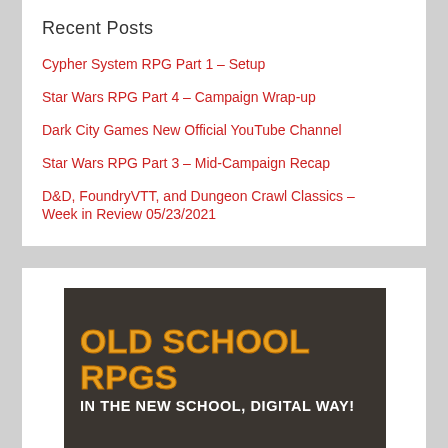Recent Posts
Cypher System RPG Part 1 – Setup
Star Wars RPG Part 4 – Campaign Wrap-up
Dark City Games New Official YouTube Channel
Star Wars RPG Part 3 – Mid-Campaign Recap
D&D, FoundryVTT, and Dungeon Crawl Classics – Week in Review 05/23/2021
[Figure (illustration): Banner image with dark textured background showing 'OLD SCHOOL RPGS IN THE NEW SCHOOL, DIGITAL WAY!' text in bold orange and white lettering]